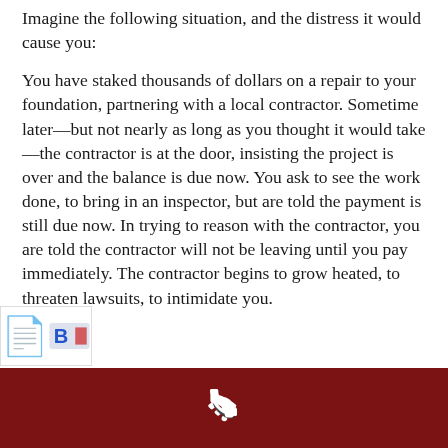Imagine the following situation, and the distress it would cause you:
You have staked thousands of dollars on a repair to your foundation, partnering with a local contractor. Sometime later—but not nearly as long as you thought it would take—the contractor is at the door, insisting the project is over and the balance is due now. You ask to see the work done, to bring in an inspector, but are told the payment is still due now. In trying to reason with the contractor, you are told the contractor will not be leaving until you pay immediately. The contractor begins to grow heated, to threaten lawsuits, to intimidate you.
[Figure (logo): Logo badge partially visible at bottom left]
[Figure (other): Dark red footer bar with white phone icon]